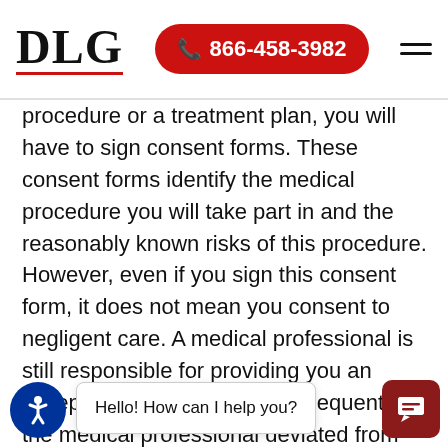DLG | 866-458-3982
procedure or a treatment plan, you will have to sign consent forms. These consent forms identify the medical procedure you will take part in and the reasonably known risks of this procedure. However, even if you sign this consent form, it does not mean you consent to negligent care. A medical professional is still responsible for providing you an acceptable level of care. Consequently, if the medical professional deviated from this standard and you suffered injuries as a result, you may be able to b medical malpractice case regardless of whether